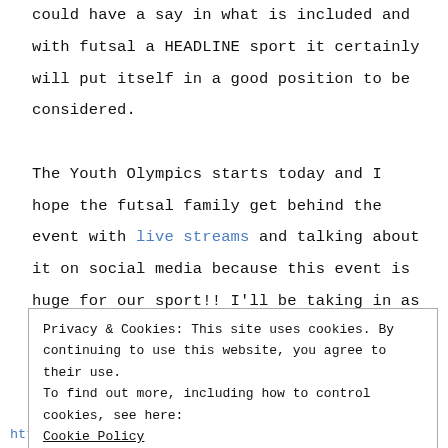could have a say in what is included and with futsal a HEADLINE sport it certainly will put itself in a good position to be considered.

The Youth Olympics starts today and I hope the futsal family get behind the event with live streams and talking about it on social media because this event is huge for our sport!! I'll be taking in as many games as possible on the live stream and maybe even looking for some players to bring to Malta in
Privacy & Cookies: This site uses cookies. By continuing to use this website, you agree to their use.
To find out more, including how to control cookies, see here:
Cookie Policy

[Close and accept]
https://www.buenosaires2018.com/results/en/futsal/da